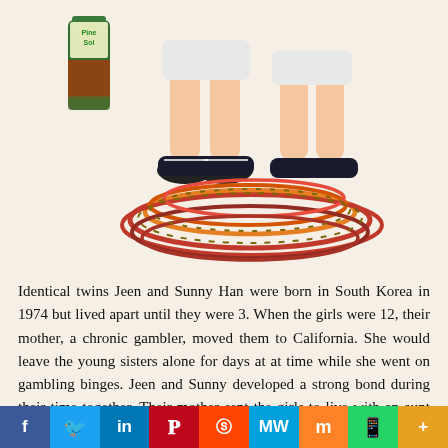[Figure (illustration): Illustration of legs/feet in sneakers with jump ropes coiled on ground, and a Pine-Sol bottle on the left side]
Identical twins Jeen and Sunny Han were born in South Korea in 1974 but lived apart until they were 3. When the girls were 12, their mother, a chronic gambler, moved them to California. She would leave the young sisters alone for days at at time while she went on gambling binges. Jeen and Sunny developed a strong bond during their time together. Their mother sent the girls to live with an aunt and uncle when she no longer wanted to be burdened with parental responsibility.
Both girls excelled academically and graduated high school as co-valedictorians. Sunny went on to college on a